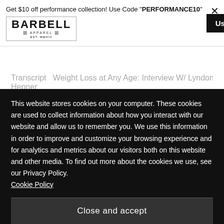Get $10 off performance collection! Use Code "PERFORMANCE10"
[Figure (logo): Barbell Apparel logo with barbell graphic, EST. MMXIII]
Use Coupon
X
Transcript   Weight Loss at Any Age: Interview W/ Lyndon Hepner
True Health & Fitness over Aesthetics
This website stores cookies on your computer. These cookies are used to collect information about how you interact with our website and allow us to remember you. We use this information in order to improve and customize your browsing experience and for analytics and metrics about our visitors both on this website and other media. To find out more about the cookies we use, see our Privacy Policy. Cookie Policy
Close and accept